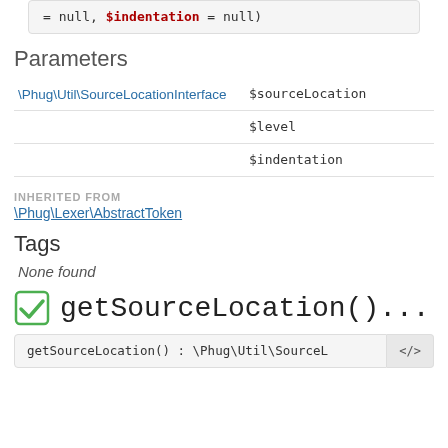= null,    $indentation = null)
Parameters
|  |  |
| --- | --- |
| \Phug\Util\SourceLocationInterface | $sourceLocation |
|  | $level |
|  | $indentation |
INHERITED FROM
\Phug\Lexer\AbstractToken
Tags
None found
getSourceLocation()...
getSourceLocation() : \Phug\Util\SourceL